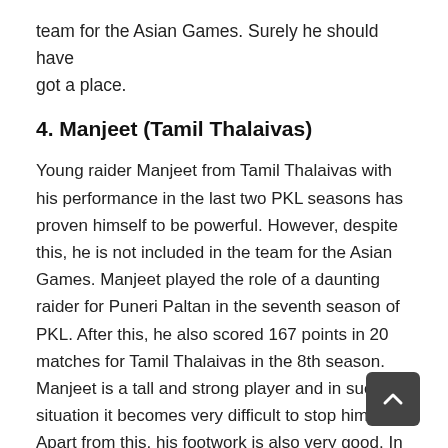team for the Asian Games. Surely he should have got a place.
4. Manjeet (Tamil Thalaivas)
Young raider Manjeet from Tamil Thalaivas with his performance in the last two PKL seasons has proven himself to be powerful. However, despite this, he is not included in the team for the Asian Games. Manjeet played the role of a daunting raider for Puneri Paltan in the seventh season of PKL. After this, he also scored 167 points in 20 matches for Tamil Thalaivas in the 8th season. Manjeet is a tall and strong player and in such a situation it becomes very difficult to stop him. Apart from this, his footwork is also very good. In such a situation, Manjeet should have also been part of the Asian Games team.